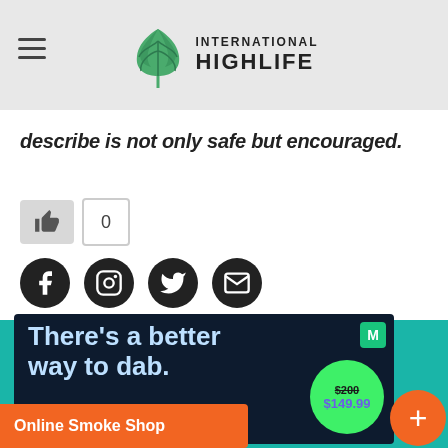International Highlife
describe is not only safe but encouraged.
[Figure (other): Like/thumbs-up button with count 0]
[Figure (other): Social media icons: Facebook, Instagram, Twitter, Email]
[Figure (other): Advertisement: There's a better way to dab. CHECK IT OUT. $200 struck through, $149.99. M badge.]
Online Smoke Shop